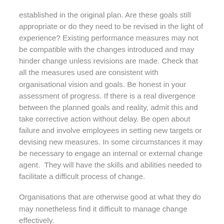established in the original plan. Are these goals still appropriate or do they need to be revised in the light of experience? Existing performance measures may not be compatible with the changes introduced and may hinder change unless revisions are made. Check that all the measures used are consistent with organisational vision and goals. Be honest in your assessment of progress. If there is a real divergence between the planned goals and reality, admit this and take corrective action without delay. Be open about failure and involve employees in setting new targets or devising new measures. In some circumstances it may be necessary to engage an internal or external change agent.  They will have the skills and abilities needed to facilitate a difficult process of change.
Organisations that are otherwise good at what they do may nonetheless find it difficult to manage change effectively.